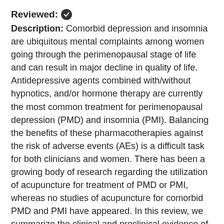Reviewed: ✓ Description: Comorbid depression and insomnia are ubiquitous mental complaints among women going through the perimenopausal stage of life and can result in major decline in quality of life. Antidepressive agents combined with/without hypnotics, and/or hormone therapy are currently the most common treatment for perimenopausal depression (PMD) and insomnia (PMI). Balancing the benefits of these pharmacotherapies against the risk of adverse events (AEs) is a difficult task for both clinicians and women. There has been a growing body of research regarding the utilization of acupuncture for treatment of PMD or PMI, whereas no studies of acupuncture for comorbid PMD and PMI have appeared. In this review, we summarize the clinical and preclinical evidence of acupuncture as a treatment for PMD or PMI, and then discuss the potential mechanisms involved and the role of acupuncture in helping women during this transition. Most clinical trials indicate that acupuncture ameliorates not only PMD/PMI but also climate symptoms with minimal AEs at...